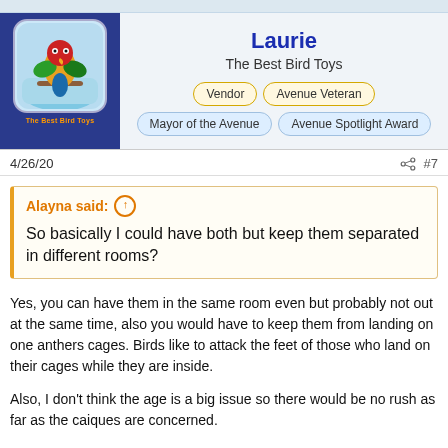[Figure (illustration): Parrot avatar with colorful bird on blue background, labeled 'The Best Bird Toys']
Laurie
The Best Bird Toys
Vendor | Avenue Veteran | Mayor of the Avenue | Avenue Spotlight Award
4/26/20
#7
Alayna said: So basically I could have both but keep them separated in different rooms?
Yes, you can have them in the same room even but probably not out at the same time, also you would have to keep them from landing on one anthers cages. Birds like to attack the feet of those who land on their cages while they are inside.
Also, I don't think the age is a big issue so there would be no rush as far as the caiques are concerned.